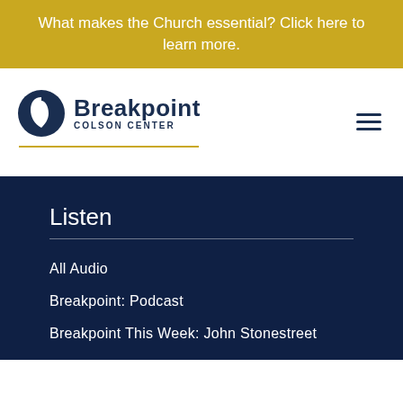What makes the Church essential? Click here to learn more.
[Figure (logo): Breakpoint Colson Center logo with circular icon and text]
Listen
All Audio
Breakpoint: Podcast
Breakpoint This Week: John Stonestreet